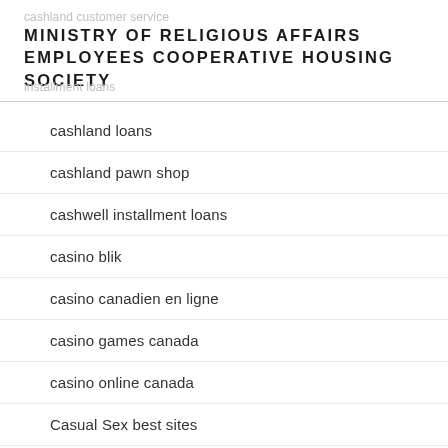MINISTRY OF RELIGIOUS AFFAIRS EMPLOYEES COOPERATIVE HOUSING SOCIETY
cashland loans
cashland pawn shop
cashwell installment loans
casino blik
casino canadien en ligne
casino games canada
casino online canada
Casual Sex best sites
casual sex dating review
CasualDates review